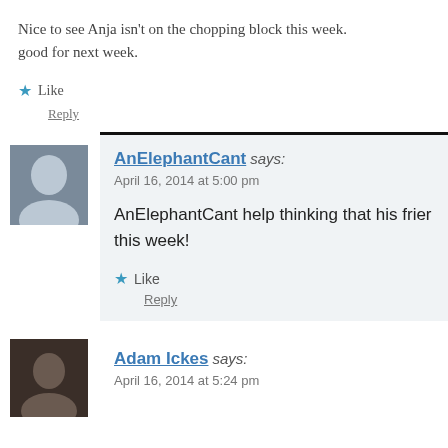Nice to see Anja isn't on the chopping block this week. good for next week.
Like
Reply
AnElephantCant says:
April 16, 2014 at 5:00 pm
AnElephantCant help thinking that his frien this week!
Like
Reply
Adam Ickes says:
April 16, 2014 at 5:24 pm